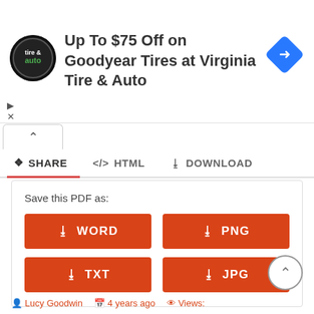[Figure (screenshot): Advertisement banner for Virginia Tire & Auto offering Up To $75 Off on Goodyear Tires. Shows company logo (circular black badge), ad text, and a blue diamond-shaped navigation arrow icon. Also shows play/close ad controls.]
Up To $75 Off on Goodyear Tires at Virginia Tire & Auto
SHARE   </> HTML   ⬇ DOWNLOAD
Save this PDF as:
WORD
PNG
TXT
JPG
Lucy Goodwin   4 years ago   Views: